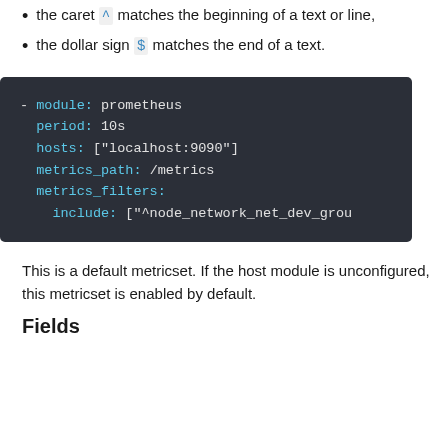the caret ^ matches the beginning of a text or line,
the dollar sign $ matches the end of a text.
[Figure (screenshot): Code block showing YAML configuration: - module: prometheus, period: 10s, hosts: ["localhost:9090"], metrics_path: /metrics, metrics_filters:, include: ["^node_network_net_dev_grou..."]; dark background with cyan keywords]
This is a default metricset. If the host module is unconfigured, this metricset is enabled by default.
Fields